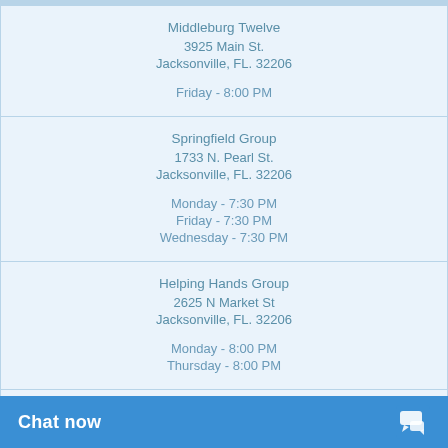| Middleburg Twelve | 3925 Main St. | Jacksonville, FL. 32206 |  | Friday - 8:00 PM |
| Springfield Group | 1733 N. Pearl St. | Jacksonville, FL. 32206 |  | Monday - 7:30 PM | Friday - 7:30 PM | Wednesday - 7:30 PM |
| Helping Hands Group | 2625 N Market St | Jacksonville, FL. 32206 |  | Monday - 8:00 PM | Thursday - 8:00 PM |
| Alcoholic Service Group 3 | 20 W. 4th Street |  |